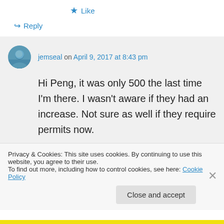★ Like
↳ Reply
jemseal on April 9, 2017 at 8:43 pm
Hi Peng, it was only 500 the last time I'm there. I wasn't aware if they had an increase. Not sure as well if they require permits now.
Privacy & Cookies: This site uses cookies. By continuing to use this website, you agree to their use.
To find out more, including how to control cookies, see here: Cookie Policy
Close and accept